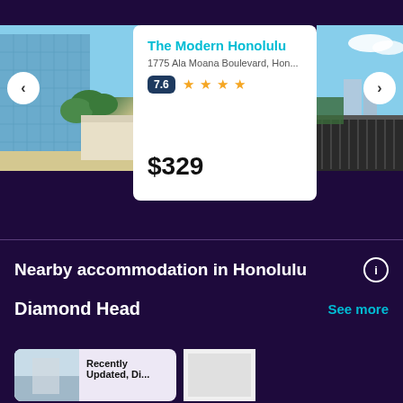[Figure (photo): Hotel building with palm trees, blue glass facade]
[Figure (photo): Hotel balcony view with city and blue sky]
The Modern Honolulu
1775 Ala Moana Boulevard, Hon...
7.6 ★★★★
$329
Nearby accommodation in Honolulu
Diamond Head
See more
Recently Updated, Di...
[Figure (photo): Small hotel card thumbnail bottom left]
[Figure (photo): Small hotel card thumbnail bottom right]